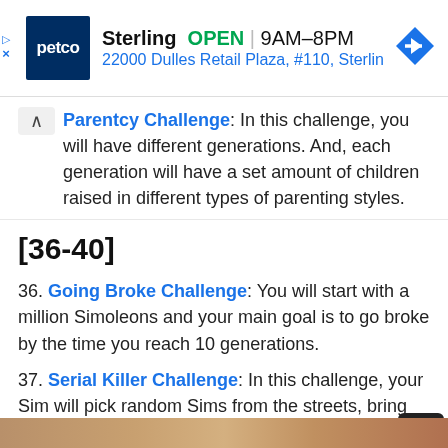[Figure (screenshot): Petco advertisement banner showing store name Sterling, OPEN status, hours 9AM-8PM, address 22000 Dulles Retail Plaza, #110, Sterlin, and a blue navigation arrow icon]
Parentcy Challenge: In this challenge, you will have different generations. And, each generation will have a set amount of children raised in different types of parenting styles.
[36-40]
36. Going Broke Challenge: You will start with a million Simoleons and your main goal is to go broke by the time you reach 10 generations.
37. Serial Killer Challenge: In this challenge, your Sim will pick random Sims from the streets, bring them home, and then kill them ruthlessly.